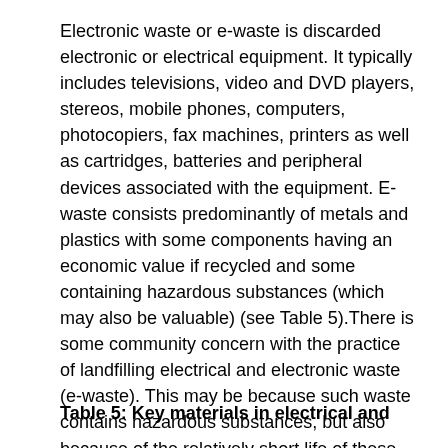Electronic waste or e-waste is discarded electronic or electrical equipment. It typically includes televisions, video and DVD players, stereos, mobile phones, computers, photocopiers, fax machines, printers as well as cartridges, batteries and peripheral devices associated with the equipment. E-waste consists predominantly of metals and plastics with some components having an economic value if recycled and some containing hazardous substances (which may also be valuable) (see Table 5).There is some community concern with the practice of landfilling electrical and electronic waste (e-waste). This may be because such waste contains hazardous substances, but also because of the relatively short life of these products, the desire not to waste the resources embodied in the waste, and the increasing volume going to landfill.
Table 5: Key materials in electrical and electronic waste